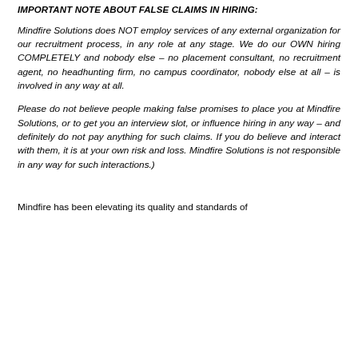IMPORTANT NOTE ABOUT FALSE CLAIMS IN HIRING:
Mindfire Solutions does NOT employ services of any external organization for our recruitment process, in any role at any stage. We do our OWN hiring COMPLETELY and nobody else – no placement consultant, no recruitment agent, no headhunting firm, no campus coordinator, nobody else at all – is involved in any way at all.
Please do not believe people making false promises to place you at Mindfire Solutions, or to get you an interview slot, or influence hiring in any way – and definitely do not pay anything for such claims. If you do believe and interact with them, it is at your own risk and loss. Mindfire Solutions is not responsible in any way for such interactions.)
Mindfire has been elevating its quality and standards of